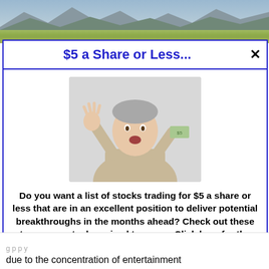[Figure (photo): Landscape photo of mountains and fields at top of page]
$5 a Share or Less...
[Figure (photo): Photo of a middle-aged man holding up one hand and holding a dollar bill in the other hand, making a surprised expression]
Do you want a list of stocks trading for $5 a share or less that are in an excellent position to deliver potential breakthroughs in the months ahead? Check out these top penny stocks poised to soar… Click here for the names & ticker symbols.
>>> See The List <<<
due to the concentration of entertainment